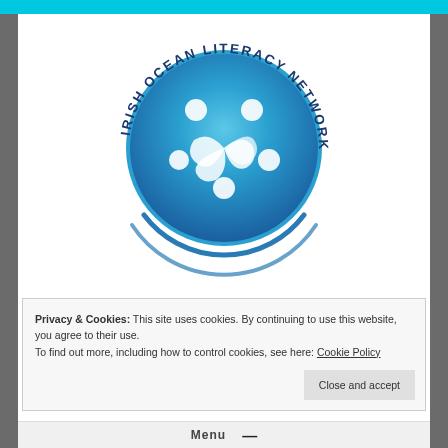[Figure (logo): Irish Ocean Literacy Network circular logo with stylized figures forming a swirl in blue ocean-water texture, surrounded by the text 'IRISH OCEAN LITERACY NETWORK' in dark blue arched lettering]
Privacy & Cookies: This site uses cookies. By continuing to use this website, you agree to their use.
To find out more, including how to control cookies, see here: Cookie Policy
Irish Ocean Literacy Network
An all Island Ocean Network
Close and accept
Menu